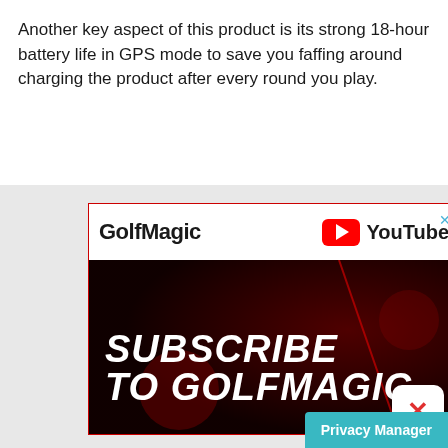Another key aspect of this product is its strong 18-hour battery life in GPS mode to save you faffing around charging the product after every round you play.
[Figure (screenshot): GolfMagic YouTube advertisement banner with 'SUBSCRIBE TO GOLFMAGIC' text on dark red background. Shows GolfMagic logo and YouTube badge. Has close button and ad controls.]